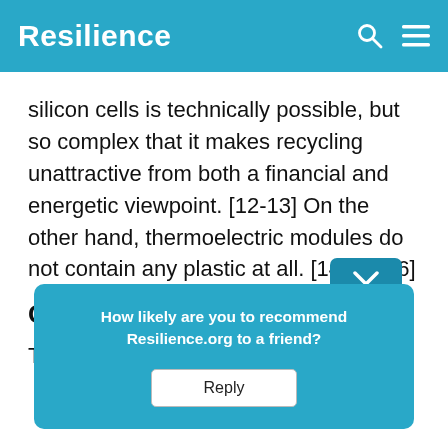Resilience
silicon cells is technically possible, but so complex that it makes recycling unattractive from both a financial and energetic viewpoint. [12-13] On the other hand, thermoelectric modules do not contain any plastic at all. [14-15][16]
Cooling the Modules
The el... electric genera...
[Figure (other): A popup dialog overlay with teal background asking 'How likely are you to recommend Resilience.org to a friend?' with a Reply button. A chevron/down-arrow tab appears at the top right of the popup.]